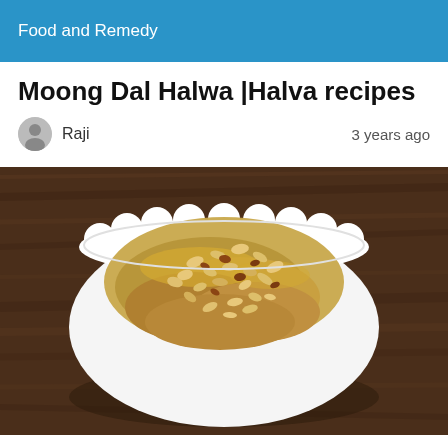Food and Remedy
Moong Dal Halwa |Halva recipes
Raji    3 years ago
[Figure (photo): Top-down view of Moong Dal Halwa served in a white scalloped bowl on a dark wooden surface, garnished with chopped almonds and raisins]